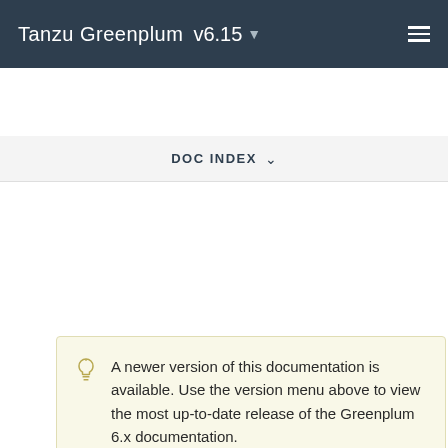Tanzu Greenplum v6.15
DOC INDEX
A newer version of this documentation is available. Use the version menu above to view the most up-to-date release of the Greenplum 6.x documentation.
System Configuration
Requirements and best practices for system